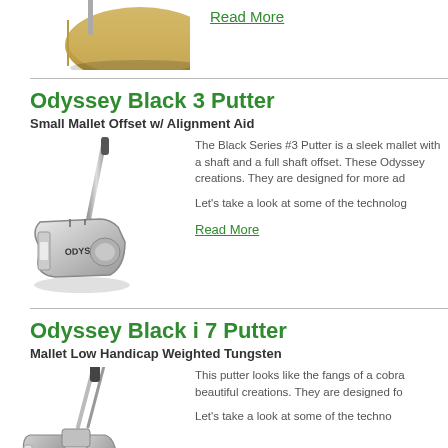[Figure (photo): Cropped bottom portion of a golf putter (Odyssey) in gold/bronze color]
Read More
Odyssey Black 3 Putter
Small Mallet Offset w/ Alignment Aid
[Figure (photo): Odyssey Black 3 Putter - silver mallet style putter with ODYSSEY branding on face]
The Black Series #3 Putter is a sleek mallet with a shaft and a full shaft offset. These Odyssey creations. They are designed for more ad
Let's take a look at some of the technolog
Read More
Odyssey Black i 7 Putter
Mallet Low Handicap Weighted Tungsten
[Figure (photo): Odyssey Black i 7 Putter - distinctive cobra fang shaped mallet putter]
This putter looks like the fangs of a cobra beautiful creations. They are designed fo
Let's take a look at some of the techno